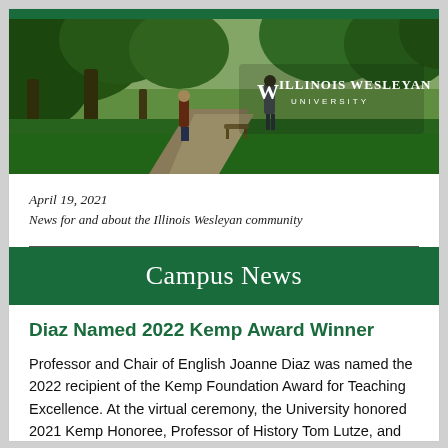[Figure (photo): Campus walkway photo with trees and two people walking, Illinois Wesleyan University logo overlay on right side]
April 19, 2021
News for and about the Illinois Wesleyan community
Campus News
Diaz Named 2022 Kemp Award Winner
Professor and Chair of English Joanne Diaz was named the 2022 recipient of the Kemp Foundation Award for Teaching Excellence. At the virtual ceremony, the University honored 2021 Kemp Honoree, Professor of History Tom Lutze, and retiring